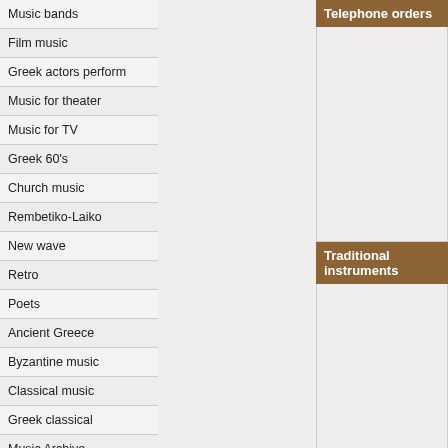Music bands
Film music
Greek actors perform
Music for theater
Music for TV
Greek 60's
Church music
Rembetiko-Laiko
New wave
Retro
Poets
Ancient Greece
Byzantine music
Classical music
Greek classical
Music Archive
Compilations
Museums / Collections
Telephone orders
[Figure (other): Empty content area for telephone orders]
Traditional instruments
[Figure (other): Empty content area for traditional instruments]
Enter shop »